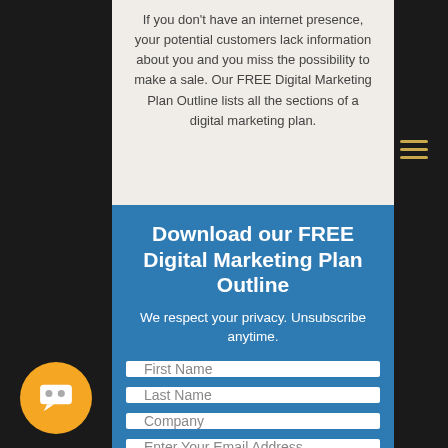If you don't have an internet presence, your potential customers lack information about you and you miss the possibility to make a sale.  Our FREE Digital Marketing Plan Outline lists all the sections of a digital marketing plan.
Download our FREE Digital Marketing Plan Outline
We respect your privacy.  Unsubscribe anytime.
First Name
Last Name
Company
Enter Your Email Address